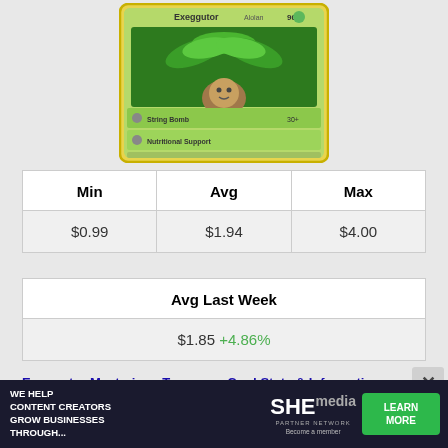[Figure (illustration): Pokemon card for Exeggutor from Mysterious Treasures set, showing Exeggutor (a palm-tree Pokemon) with green border, HP 90, moves String Bomb and Nutritional Support]
| Min | Avg | Max |
| --- | --- | --- |
| $0.99 | $1.94 | $4.00 |
| Avg Last Week |
| --- |
| $1.85 +4.86% |
Exeggutor Mysterious Treasures Card Stats & Information:
[Figure (other): SHE Media advertisement banner: We help content creators grow businesses through... Partner Network - Learn More]